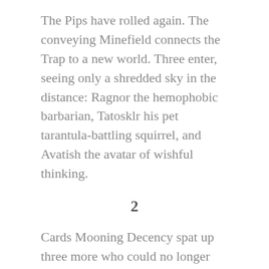The Pips have rolled again. The conveying Minefield connects the Trap to a new world. Three enter, seeing only a shredded sky in the distance: Ragnor the hemophobic barbarian, Tatosklr his pet tarantula-battling squirrel, and Avatish the avatar of wishful thinking.
2
Cards Mooning Decency spat up three more who could no longer stomach its cruelty. They were spat up quite literally, having to spend their first hour or so airing out their clothes and shoes to rid them of a monster's saliva. Luckily the Minefield pulled them along on its own, so they were free to set up a clothesline and guard it. They were down